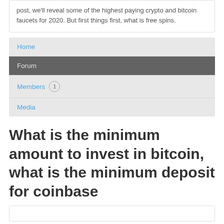post, we'll reveal some of the highest paying crypto and bitcoin faucets for 2020. But first things first, what is free spins.
Home
Forum
Members 1
Media
What is the minimum amount to invest in bitcoin, what is the minimum deposit for coinbase